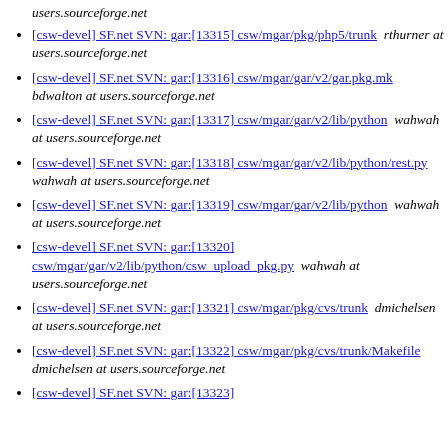users.sourceforge.net
[csw-devel] SF.net SVN: gar:[13315] csw/mgar/pkg/php5/trunk  rthurner at users.sourceforge.net
[csw-devel] SF.net SVN: gar:[13316] csw/mgar/gar/v2/gar.pkg.mk  bdwalton at users.sourceforge.net
[csw-devel] SF.net SVN: gar:[13317] csw/mgar/gar/v2/lib/python  wahwah at users.sourceforge.net
[csw-devel] SF.net SVN: gar:[13318] csw/mgar/gar/v2/lib/python/rest.py  wahwah at users.sourceforge.net
[csw-devel] SF.net SVN: gar:[13319] csw/mgar/gar/v2/lib/python  wahwah at users.sourceforge.net
[csw-devel] SF.net SVN: gar:[13320] csw/mgar/gar/v2/lib/python/csw_upload_pkg.py  wahwah at users.sourceforge.net
[csw-devel] SF.net SVN: gar:[13321] csw/mgar/pkg/cvs/trunk  dmichelsen at users.sourceforge.net
[csw-devel] SF.net SVN: gar:[13322] csw/mgar/pkg/cvs/trunk/Makefile  dmichelsen at users.sourceforge.net
[csw-devel] SF.net SVN: gar:[13323]